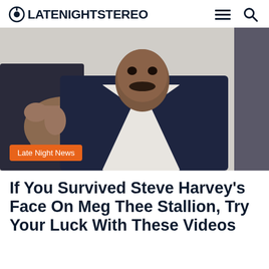LATENIGHTSTEREO
[Figure (photo): Man in a dark suit jacket and white dress shirt pointing finger toward camera, with a mustache, photographed indoors against a light gray background. Orange category tag 'Late Night News' overlaid in bottom-left corner.]
If You Survived Steve Harvey's Face On Meg Thee Stallion, Try Your Luck With These Videos